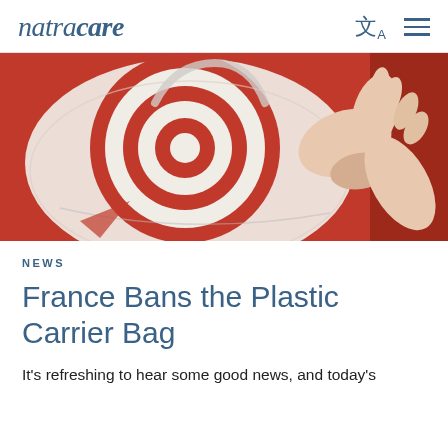natracare
[Figure (photo): Person holding a white plastic bag with red concentric circle target pattern against a red background]
NEWS
France Bans the Plastic Carrier Bag
It's refreshing to hear some good news, and today's